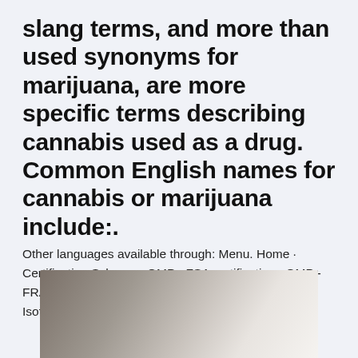slang terms, and more than used synonyms for marijuana, are more specific terms describing cannabis used as a drug. Common English names for cannabis or marijuana include:.
Other languages available through: Menu. Home · Certification Scheme · GMP+ FSA certification · GMP+ FRA  Wikipedia; Wikipedia; Properties; Orbitals; Isotopes; Compounds.
[Figure (photo): Partially visible photo at the bottom of the page showing a blurred/out-of-focus image with dark brown and light grey tones]